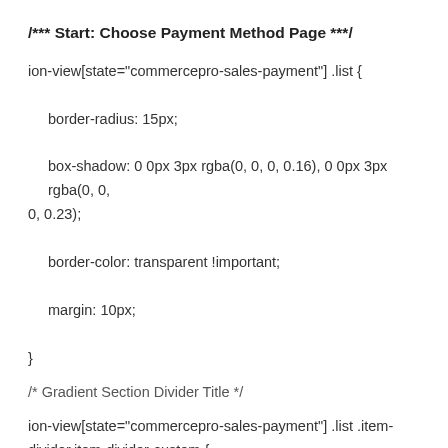/*** Start: Choose Payment Method Page ***/
ion-view[state="commercepro-sales-payment"] .list {

  border-radius: 15px;

  box-shadow: 0 0px 3px rgba(0, 0, 0, 0.16), 0 0px 3px rgba(0, 0, 0, 0.23);

  border-color: transparent !important;

  margin: 10px;

}
/* Gradient Section Divider Title */
ion-view[state="commercepro-sales-payment"] .list .item-divider.item-divider-custom {
color: transparent;